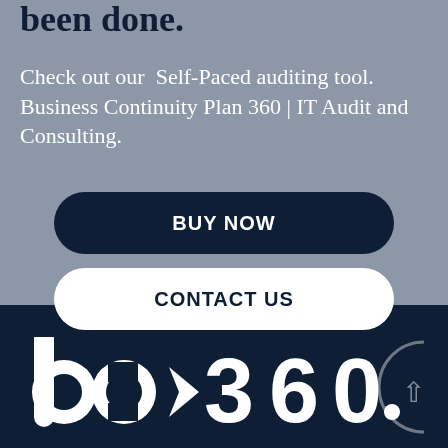been done.
Check out our Self-Paced auditing tool.
Business Continuity Plan 360 | IT Audit and Consulting.
[Figure (other): Dark navy rounded rectangle button with bold white text reading BUY NOW]
[Figure (other): White rounded rectangle button with bold dark navy text reading CONTACT US]
[Figure (logo): bc360 logo in white on dark navy background, partially visible at bottom of page]